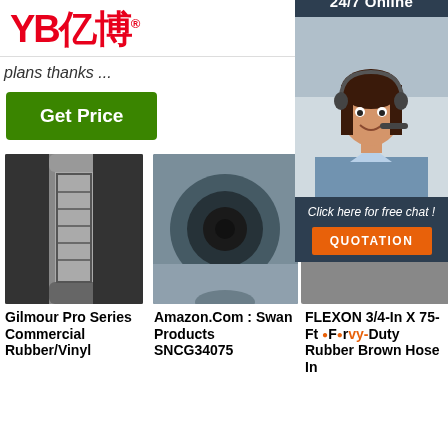[Figure (logo): YB亿博 logo in red with registered trademark symbol]
[Figure (other): Hamburger menu button (three horizontal lines in a rounded rectangle)]
plans thanks ...
Get Price
[Figure (photo): Gilmour Pro Series rubber/vinyl hose closeup, metallic fitting on black hose]
[Figure (photo): Amazon.com Swan Products SNCG34075 hose end closeup showing cross-section]
[Figure (photo): Online customer service agent sidebar: 24/7 Online badge, photo of woman with headset, Click here for free chat, QUOTATION button]
Gilmour Pro Series Commercial Rubber/Vinyl
Amazon.Com : Swan Products SNCG34075
FLEXON 3/4-In X 75-Ft For vy-Duty Rubber Brown Hose In